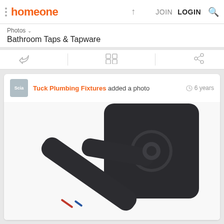homeone  JOIN  LOGIN
Photos  Bathroom Taps & Tapware
Tuck Plumbing Fixtures added a photo  6 years
[Figure (photo): Close-up photo of a matte black wall-mounted tap/mixer with a lever handle and square backplate, photographed against a white background.]